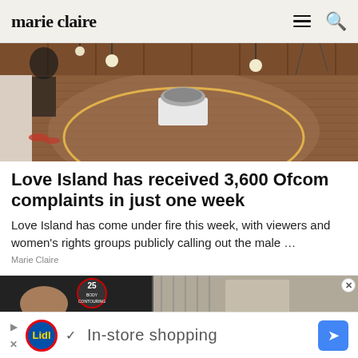marie claire
[Figure (photo): Interior view of the Love Island villa showing a circular wooden deck with a central bowl fire pit, dangling light bulbs, and a glowing oval outline on the floor.]
Love Island has received 3,600 Ofcom complaints in just one week
Love Island has come under fire this week, with viewers and women's rights groups publicly calling out the male …
Marie Claire
[Figure (photo): Partial view of a second article thumbnail showing body contouring advertisement and another image.]
In-store shopping